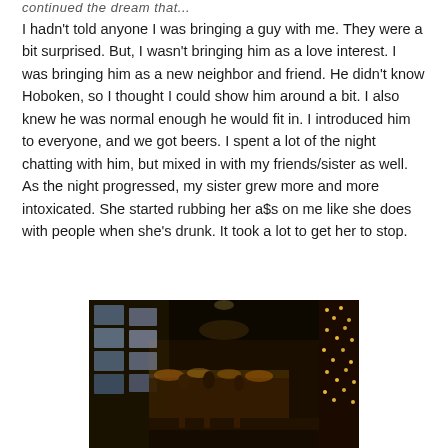continued the dream that...
I hadn't told anyone I was bringing a guy with me. They were a bit surprised. But, I wasn't bringing him as a love interest. I was bringing him as a new neighbor and friend. He didn't know Hoboken, so I thought I could show him around a bit. I also knew he was normal enough he would fit in. I introduced him to everyone, and we got beers. I spent a lot of the night chatting with him, but mixed in with my friends/sister as well. As the night progressed, my sister grew more and more intoxicated. She started rubbing her a$s on me like she does with people when she's drunk. It took a lot to get her to stop.
[Figure (photo): Interior of a bar viewed from above, showing a long narrow space with TV screens on the left wall, patrons at the bar, warm amber lighting, string lights on the right wall, and a dark wooden decor.]